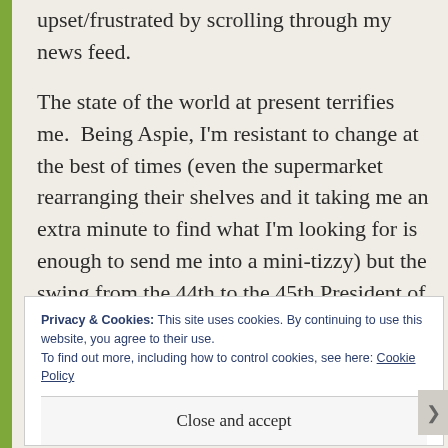upset/frustrated by scrolling through my news feed.

The state of the world at present terrifies me.  Being Aspie, I'm resistant to change at the best of times (even the supermarket rearranging their shelves and it taking me an extra minute to find what I'm looking for is enough to send me into a mini-tizzy) but the swing from the 44th to the 45th President of the United States is as polarised
Privacy & Cookies: This site uses cookies. By continuing to use this website, you agree to their use.
To find out more, including how to control cookies, see here: Cookie Policy
Close and accept